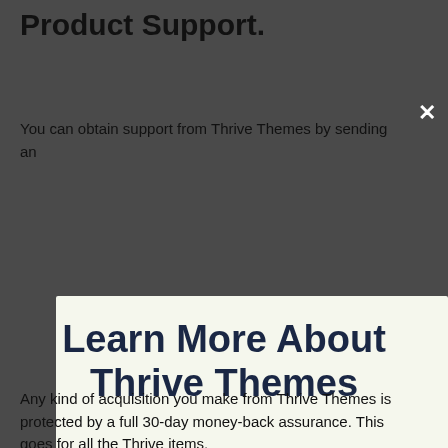Product Support.
You can obtain support from Thrive Themes by sending an
[Figure (screenshot): Modal popup with light green background containing heading 'Learn More About Thrive Themes', subtext 'Take Advantage Of The Craziest Offer Of The Year!', a green CTA button 'CHECK OUT THE OFFICIAL THRIVE SITE HERE', and dismiss text 'No thanks, I'm not interested!']
Any kind of acquisition you make from Thrive Themes is protected by a full 30-day money-back assurance. This goes for all the Thrive items.